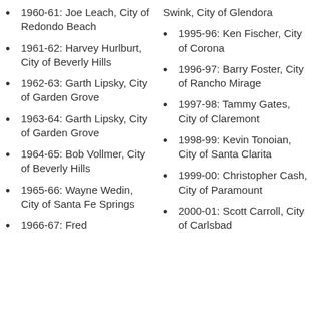1960-61: Joe Leach, City of Redondo Beach
1961-62: Harvey Hurlburt, City of Beverly Hills
1962-63: Garth Lipsky, City of Garden Grove
1963-64: Garth Lipsky, City of Garden Grove
1964-65: Bob Vollmer, City of Beverly Hills
1965-66: Wayne Wedin, City of Santa Fe Springs
1966-67: Fred Swink, City of Glendora
1995-96: Ken Fischer, City of Corona
1996-97: Barry Foster, City of Rancho Mirage
1997-98: Tammy Gates, City of Claremont
1998-99: Kevin Tonoian, City of Santa Clarita
1999-00: Christopher Cash, City of Paramount
2000-01: Scott Carroll, City of Carlsbad